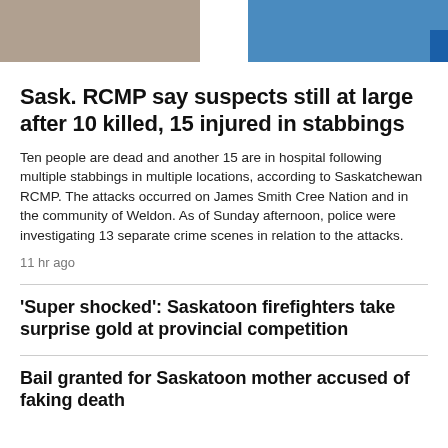[Figure (photo): Two photo thumbnails side by side at the top: left shows a person with dark beard, right shows a person in blue shirt]
Sask. RCMP say suspects still at large after 10 killed, 15 injured in stabbings
Ten people are dead and another 15 are in hospital following multiple stabbings in multiple locations, according to Saskatchewan RCMP. The attacks occurred on James Smith Cree Nation and in the community of Weldon. As of Sunday afternoon, police were investigating 13 separate crime scenes in relation to the attacks.
11 hr ago
'Super shocked': Saskatoon firefighters take surprise gold at provincial competition
Bail granted for Saskatoon mother accused of faking death